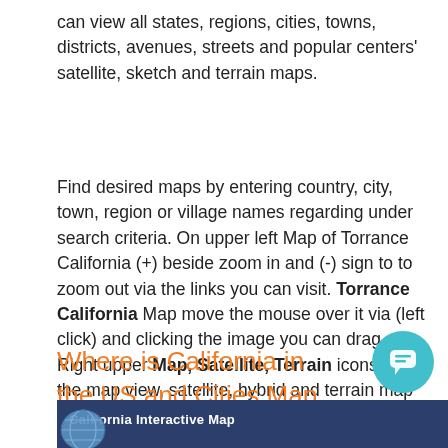can view all states, regions, cities, towns, districts, avenues, streets and popular centers' satellite, sketch and terrain maps.
Find desired maps by entering country, city, town, region or village names regarding under search criteria. On upper left Map of Torrance California (+) beside zoom in and (-) sign to to zoom out via the links you can visit. Torrance California Map move the mouse over it via (left click) and clicking the image you can drag. Right upper Map, Satellite, Terrain icons via the map view, satellite, hybrid and terrain map can be switch between images.
Where is California in the US and Cities Map of California
[Figure (map): California Interactive Map strip at bottom of page showing a dark blue banner with globe icon]